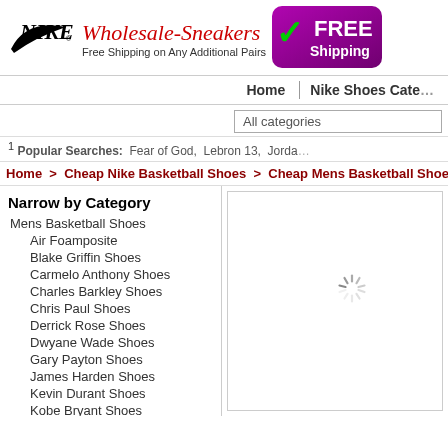[Figure (logo): NIKE swoosh logo with italic text]
Wholesale-Sneakers
Free Shipping on Any Additional Pairs
[Figure (infographic): FREE Shipping badge with green checkmark on purple rounded rectangle background]
Home | Nike Shoes Cate...
All categories
1 Popular Searches: Fear of God, Lebron 13, Jorda...
Home > Cheap Nike Basketball Shoes > Cheap Mens Basketball Shoes > Ch...
Narrow by Category
Mens Basketball Shoes
Air Foamposite
Blake Griffin Shoes
Carmelo Anthony Shoes
Charles Barkley Shoes
Chris Paul Shoes
Derrick Rose Shoes
Dwyane Wade Shoes
Gary Payton Shoes
James Harden Shoes
Kevin Durant Shoes
Kobe Bryant Shoes
[Figure (other): Loading spinner icon in product area]